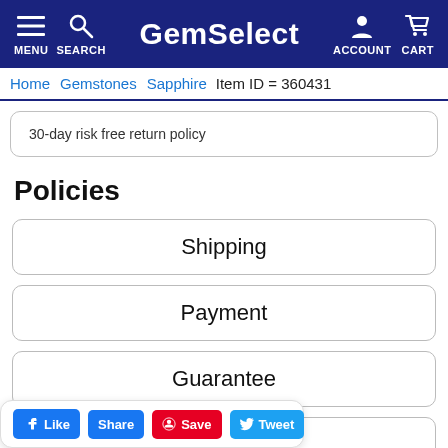GemSelect — MENU SEARCH ACCOUNT CART
Home  Gemstones  Sapphire  Item ID = 360431
30-day risk free return policy
Policies
Shipping
Payment
Guarantee
Like  Share  Save  Tweet  on